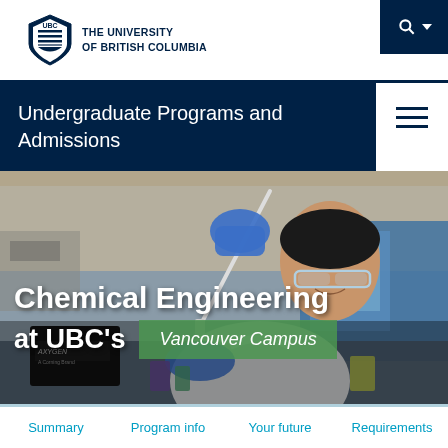THE UNIVERSITY OF BRITISH COLUMBIA
Undergraduate Programs and Admissions
[Figure (photo): A male student in a white lab coat and blue nitrile gloves using a pipette in a chemistry laboratory. Safety glasses on, working with laboratory equipment and instruments in the background.]
Chemical Engineering at UBC's Vancouver Campus
Summary  Program info  Your future  Requirements